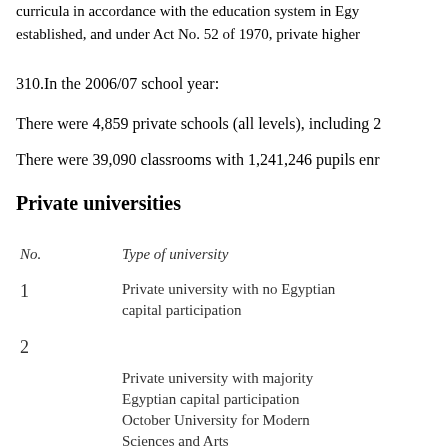curricula in accordance with the education system in Egypt established, and under Act No. 52 of 1970, private higher
310.In the 2006/07 school year:
There were 4,859 private schools (all levels), including 22
There were 39,090 classrooms with 1,241,246 pupils enro
Private universities
| No. | Type of university |
| --- | --- |
| 1 | Private university with no Egyptian capital participation |
| 2 | Private university with majority Egyptian capital participation
October University for Modern Sciences and Arts |